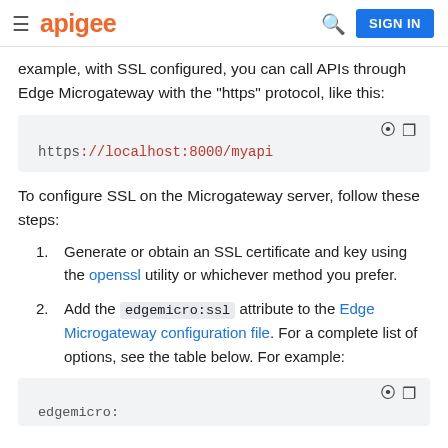apigee  [search] SIGN IN
example, with SSL configured, you can call APIs through Edge Microgateway with the "https" protocol, like this:
[Figure (screenshot): Code block showing: https://localhost:8000/myapi]
To configure SSL on the Microgateway server, follow these steps:
1. Generate or obtain an SSL certificate and key using the openssl utility or whichever method you prefer.
2. Add the edgemicro:ssl attribute to the Edge Microgateway configuration file. For a complete list of options, see the table below. For example:
[Figure (screenshot): Code block showing start of: edgemicro:]